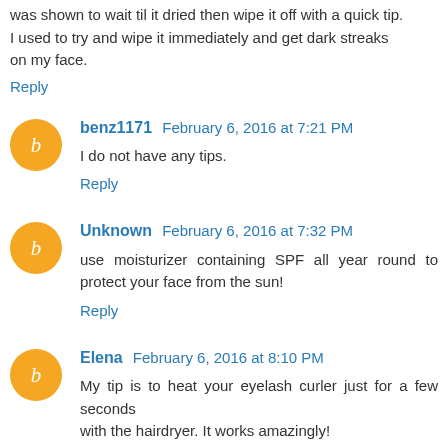was shown to wait til it dried then wipe it off with a quick tip. I used to try and wipe it immediately and get dark streaks on my face.
Reply
benz1171  February 6, 2016 at 7:21 PM
I do not have any tips.
Reply
Unknown  February 6, 2016 at 7:32 PM
use moisturizer containing SPF all year round to protect your face from the sun!
Reply
Elena  February 6, 2016 at 8:10 PM
My tip is to heat your eyelash curler just for a few seconds with the hairdryer. It works amazingly!